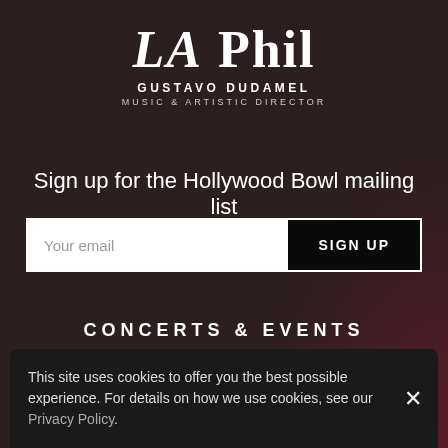[Figure (logo): LA Phil logo with text 'LA Phil' in large serif font, 'GUSTAVO DUDAMEL' below, and 'MUSIC & ARTISTIC DIRECTOR' subtitle]
Sign up for the Hollywood Bowl mailing list
Your email
SIGN UP
CONCERTS & EVENTS
Calendar
Safety Information
This site uses cookies to offer you the best possible experience. For details on how we use cookies, see our Privacy Policy.